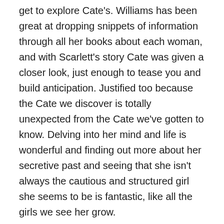get to explore Cate's. Williams has been great at dropping snippets of information through all her books about each woman, and with Scarlett's story Cate was given a closer look, just enough to tease you and build anticipation. Justified too because the Cate we discover is totally unexpected from the Cate we've gotten to know. Delving into her mind and life is wonderful and finding out more about her secretive past and seeing that she isn't always the cautious and structured girl she seems to be is fantastic, like all the girls we see her grow.
Williams' starts off the story slowly, almost as you'd expect, meeting a guy who isn't the guy you expect to fall for, but even if you think you know what may happen, that it will follow some clear set of events, it won't. Williams brings a whole new story to the table and brings